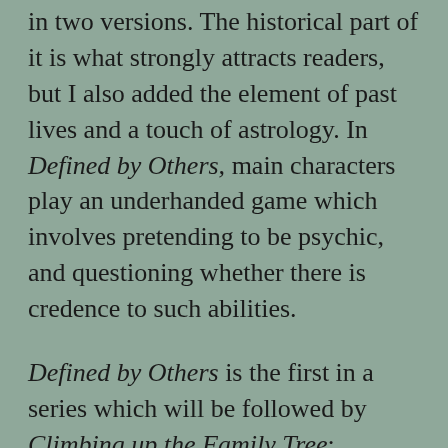in two versions. The historical part of it is what strongly attracts readers, but I also added the element of past lives and a touch of astrology. In Defined by Others, main characters play an underhanded game which involves pretending to be psychic, and questioning whether there is credence to such abilities.
Defined by Others is the first in a series which will be followed by Climbing up the Family Tree; Defined by Pedigree. It has a far smaller influence in that theme, well so far... it is after all a theme that is so broad and fascinates me.
Why have you chosen to write about this particular theme?